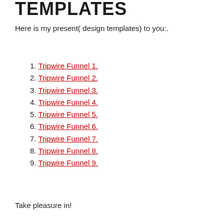TEMPLATES
Here is my present( design templates) to you:.
Tripwire Funnel 1.
Tripwire Funnel 2.
Tripwire Funnel 3.
Tripwire Funnel 4.
Tripwire Funnel 5.
Tripwire Funnel 6.
Tripwire Funnel 7.
Tripwire Funnel 8.
Tripwire Funnel 9.
Take pleasure in!